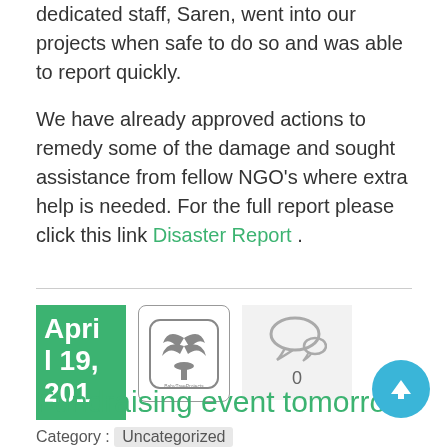dedicated staff, Saren, went into our projects when safe to do so and was able to report quickly.

We have already approved actions to remedy some of the damage and sought assistance from fellow NGO's where extra help is needed. For the full report please click this link Disaster Report .
[Figure (other): Date box showing April 19, 201- in green, BabyTreeProjects logo in a rounded square border, and a comment bubble icon with count 0 on a gray background]
Fundraising event tomorro
Category : Uncategorized